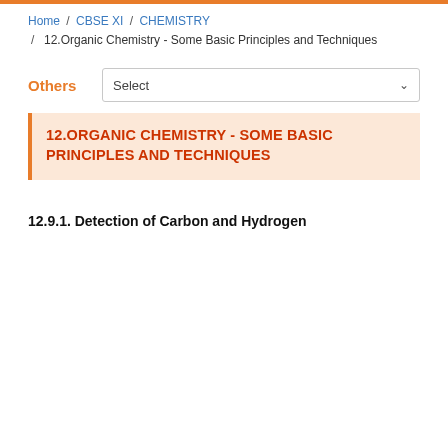Home / CBSE XI / CHEMISTRY / 12.Organic Chemistry - Some Basic Principles and Techniques
Others | Select
12.ORGANIC CHEMISTRY - SOME BASIC PRINCIPLES AND TECHNIQUES
12.9.1. Detection of Carbon and Hydrogen